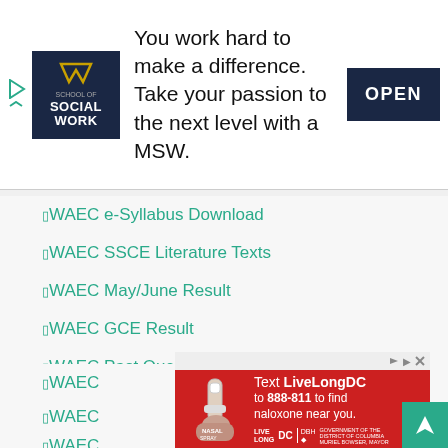[Figure (infographic): Top advertisement banner: WVU School of Social Work logo on dark navy background with WV state logo, tagline 'You work hard to make a difference. Take your passion to the next level with a MSW.' and a dark navy OPEN button]
WAEC e-Syllabus Download
WAEC SSCE Literature Texts
WAEC May/June Result
WAEC GCE Result
WAEC Past Questions
WAEC May/June Registration
WAEC GCE Registration
WAEC ...
WAEC ...
WAEC ...
[Figure (infographic): Bottom advertisement: Red background ad for LiveLongDC, showing a hand holding Narcan nasal spray, text 'Text LiveLongDC to 888-811 to find naloxone near you.' with Live Long DC and DBH logos and Government of the District of Columbia Muriel Bowser Mayor branding]